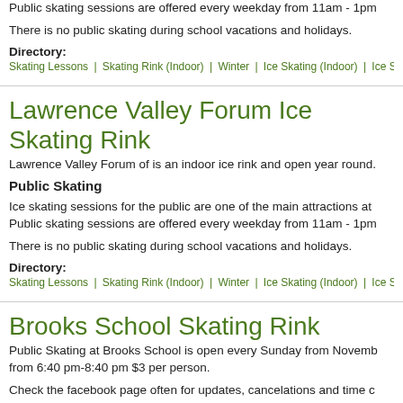Public skating sessions are offered every weekday from 11am - 1pm
There is no public skating during school vacations and holidays.
Directory:
Skating Lessons | Skating Rink (Indoor) | Winter | Ice Skating (Indoor) | Ice Skating | Indoor A
Lawrence Valley Forum Ice Skating Rink
Lawrence Valley Forum of is an indoor ice rink and open year round.
Public Skating
Ice skating sessions for the public are one of the main attractions at Public skating sessions are offered every weekday from 11am - 1pm
There is no public skating during school vacations and holidays.
Directory:
Skating Lessons | Skating Rink (Indoor) | Winter | Ice Skating (Indoor) | Ice Skating | Indoor A
Brooks School Skating Rink
Public Skating at Brooks School is open every Sunday from November from 6:40 pm-8:40 pm $3 per person.
Check the facebook page often for updates, cancelations and time c